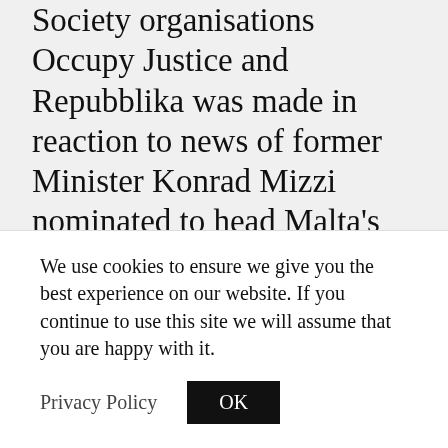Society organisations Occupy Justice and Repubblika was made in reaction to news of former Minister Konrad Mizzi nominated to head Malta's delegation to the OSCE assembly, an intergovernmental organisation with a mandate that includes issues such as press freedom and human rights.
The OSCE Representative on Freedom of the Media told The Shift the decision
We use cookies to ensure we give you the best experience on our website. If you continue to use this site we will assume that you are happy with it.
Privacy Policy
OK